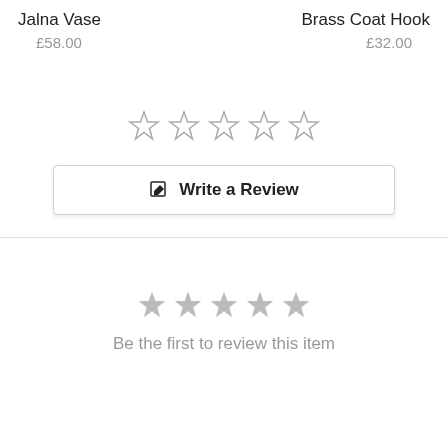Jalna Vase
Brass Coat Hook
£58.00
£32.00
[Figure (other): Five empty outline star rating widgets]
Write a Review
[Figure (other): Five filled grey stars rating display]
Be the first to review this item